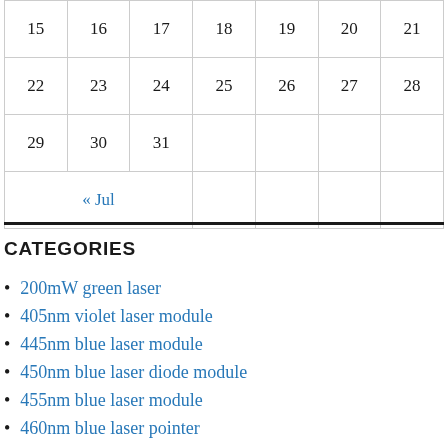| 15 | 16 | 17 | 18 | 19 | 20 | 21 |
| 22 | 23 | 24 | 25 | 26 | 27 | 28 |
| 29 | 30 | 31 |  |  |  |  |
| « Jul |  |  |  |  |  |  |
CATEGORIES
200mW green laser
405nm violet laser module
445nm blue laser module
450nm blue laser diode module
455nm blue laser module
460nm blue laser pointer